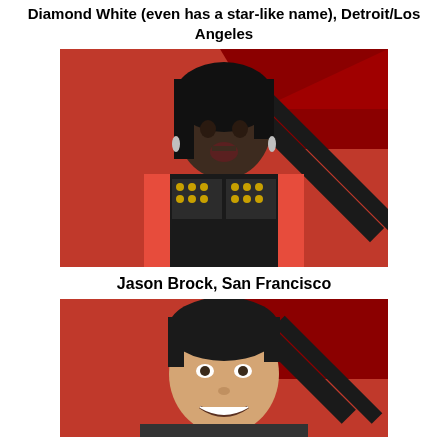Diamond White (even has a star-like name), Detroit/Los Angeles
[Figure (photo): Photo of Diamond White standing in front of an X Factor backdrop, wearing a red hoodie and black studded vest, mouth open as if singing]
Jason Brock, San Francisco
[Figure (photo): Photo of Jason Brock in front of an X Factor backdrop, smiling at the camera with short dark hair]